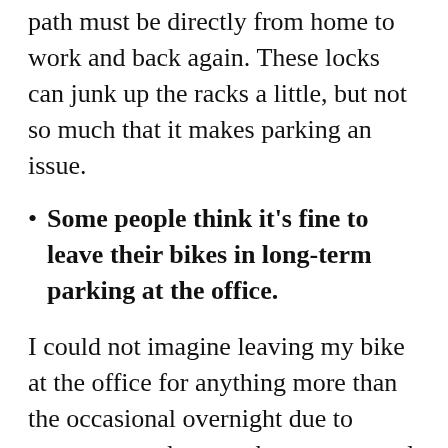path must be directly from home to work and back again. These locks can junk up the racks a little, but not so much that it makes parking an issue.
Some people think it's fine to leave their bikes in long-term parking at the office.
I could not imagine leaving my bike at the office for anything more than the occasional overnight due to extreme weather or other unexpected circumstances. However, there are some